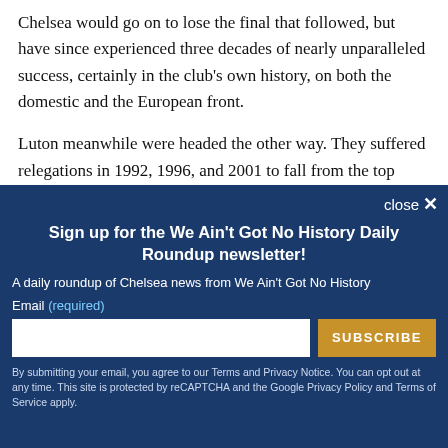Chelsea would go on to lose the final that followed, but have since experienced three decades of nearly unparalleled success, certainly in the club's own history, on both the domestic and the European front.
Luton meanwhile were headed the other way. They suffered relegations in 1992, 1996, and 2001 to fall from the top flight (just prior to the advent of the
[Figure (screenshot): Newsletter signup modal overlay with dark blue background. Title: 'Sign up for the We Ain't Got No History Daily Roundup newsletter!'. Subtitle: 'A daily roundup of Chelsea news from We Ain't Got No History'. Email input field with SUBSCRIBE button. Close button top right. Footer legal text about Terms and Privacy Notice.]